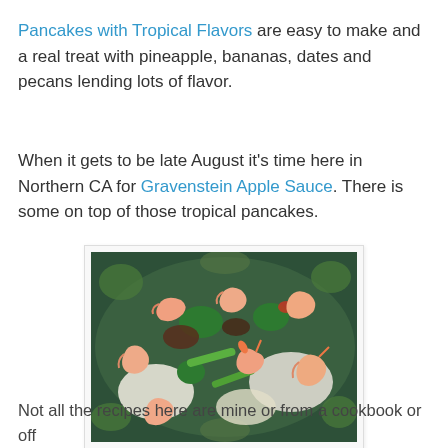Pancakes with Tropical Flavors are easy to make and a real treat with pineapple, bananas, dates and pecans lending lots of flavor.
When it gets to be late August it's time here in Northern CA for Gravenstein Apple Sauce. There is some on top of those tropical pancakes.
[Figure (photo): A plate with shrimp stir-fry served over rice with vegetables including broccoli and snap peas, on a decorative plate with floral pattern.]
Not all the recipes here are mine or from a cookbook or off